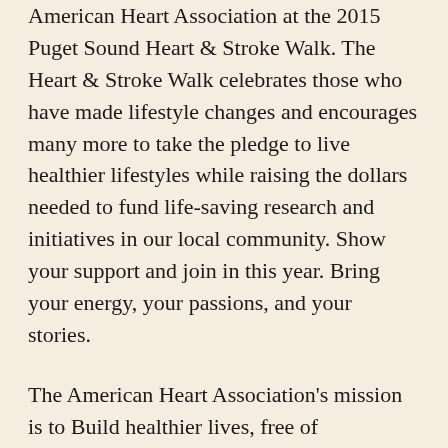American Heart Association at the 2015 Puget Sound Heart & Stroke Walk. The Heart & Stroke Walk celebrates those who have made lifestyle changes and encourages many more to take the pledge to live healthier lifestyles while raising the dollars needed to fund life-saving research and initiatives in our local community. Show your support and join in this year. Bring your energy, your passions, and your stories.
The American Heart Association's mission is to Build healthier lives, free of cardiovascular diseases and stroke. The goal is by 2020, to improve the cardiovascular health of all Americans by 20 percent while reducing deaths from cardiovascular disease and stroke by 20 percent.
In 1999, the American Heart Association set a bold 10-year goal: To reduce coronary heart disease, stroke and risk by 25 percent by 2010. The reduction